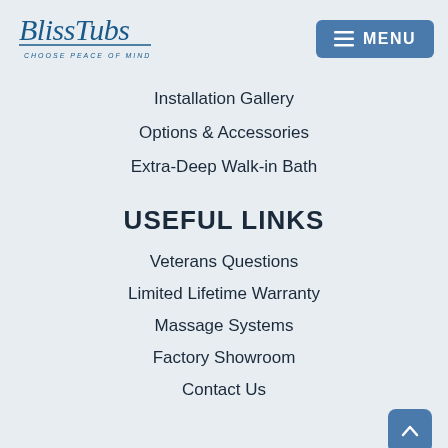[Figure (logo): BlissTubs logo with italic script text and tagline 'Choose Peace of Mind']
Installation Gallery
Options & Accessories
Extra-Deep Walk-in Bath
USEFUL LINKS
Veterans Questions
Limited Lifetime Warranty
Massage Systems
Factory Showroom
Contact Us